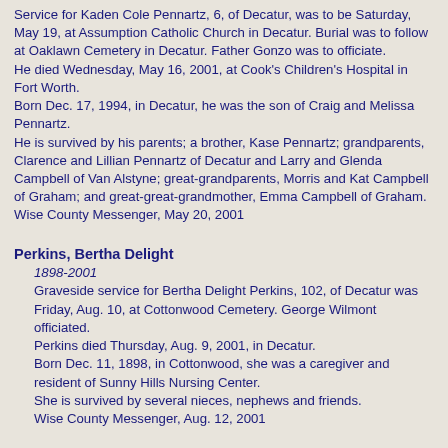Service for Kaden Cole Pennartz, 6, of Decatur, was to be Saturday, May 19, at Assumption Catholic Church in Decatur. Burial was to follow at Oaklawn Cemetery in Decatur. Father Gonzo was to officiate. He died Wednesday, May 16, 2001, at Cook's Children's Hospital in Fort Worth. Born Dec. 17, 1994, in Decatur, he was the son of Craig and Melissa Pennartz. He is survived by his parents; a brother, Kase Pennartz; grandparents, Clarence and Lillian Pennartz of Decatur and Larry and Glenda Campbell of Van Alstyne; great-grandparents, Morris and Kat Campbell of Graham; and great-great-grandmother, Emma Campbell of Graham. Wise County Messenger, May 20, 2001
Perkins, Bertha Delight
1898-2001
Graveside service for Bertha Delight Perkins, 102, of Decatur was Friday, Aug. 10, at Cottonwood Cemetery. George Wilmont officiated. Perkins died Thursday, Aug. 9, 2001, in Decatur. Born Dec. 11, 1898, in Cottonwood, she was a caregiver and resident of Sunny Hills Nursing Center. She is survived by several nieces, nephews and friends. Wise County Messenger, Aug. 12, 2001